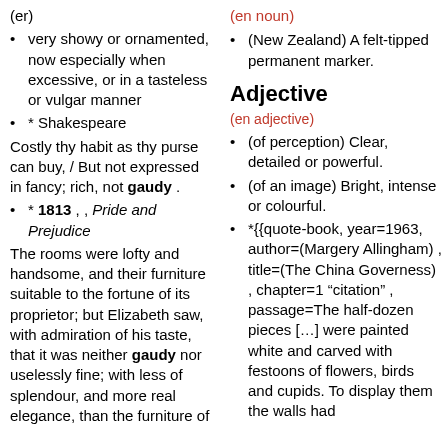(er)
very showy or ornamented, now especially when excessive, or in a tasteless or vulgar manner
* Shakespeare
Costly thy habit as thy purse can buy, / But not expressed in fancy; rich, not gaudy .
* 1813 , , Pride and Prejudice
The rooms were lofty and handsome, and their furniture suitable to the fortune of its proprietor; but Elizabeth saw, with admiration of his taste, that it was neither gaudy nor uselessly fine; with less of splendour, and more real elegance, than the furniture of
(en noun)
(New Zealand) A felt-tipped permanent marker.
Adjective
(en adjective)
(of perception) Clear, detailed or powerful.
(of an image) Bright, intense or colourful.
*{{quote-book, year=1963, author=(Margery Allingham) , title=(The China Governess) , chapter=1 “citation” , passage=The half-dozen pieces […] were painted white and carved with festoons of flowers, birds and cupids. To display them the walls had